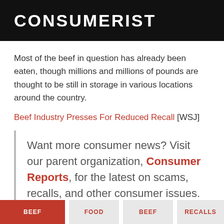CONSUMERIST
Most of the beef in question has already been eaten, though millions and millions of pounds are thought to be still in storage in various locations around the country.
Beef Industry Presses For Reduced Recall [WSJ]
Want more consumer news? Visit our parent organization, Consumer Reports, for the latest on scams, recalls, and other consumer issues.
2.22.08  By Meg Marco @meghann
BEEF  FOOD  BEEF  RECALLS